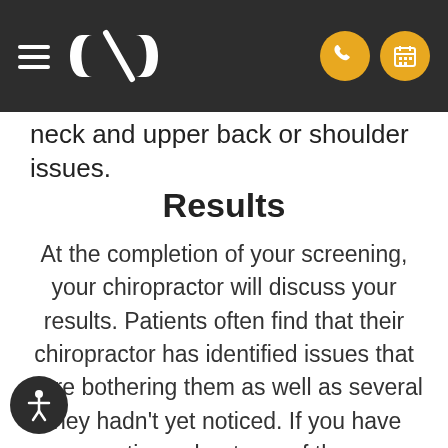JP Chiropractic
neck and upper back or shoulder issues.
Results
At the completion of your screening, your chiropractor will discuss your results. Patients often find that their chiropractor has identified issues that were bothering them as well as several they hadn't yet noticed. If you have questions about any of these conditions, be sure to discuss them